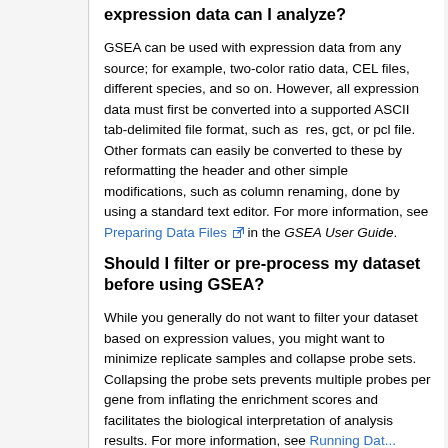expression data can I analyze?
GSEA can be used with expression data from any source; for example, two-color ratio data, CEL files, different species, and so on. However, all expression data must first be converted into a supported ASCII tab-delimited file format, such as  res, gct, or pcl file. Other formats can easily be converted to these by reformatting the header and other simple modifications, such as column renaming, done by using a standard text editor. For more information, see Preparing Data Files in the GSEA User Guide.
Should I filter or pre-process my dataset before using GSEA?
While you generally do not want to filter your dataset based on expression values, you might want to minimize replicate samples and collapse probe sets. Collapsing the probe sets prevents multiple probes per gene from inflating the enrichment scores and facilitates the biological interpretation of analysis results. For more information, see Running Data...